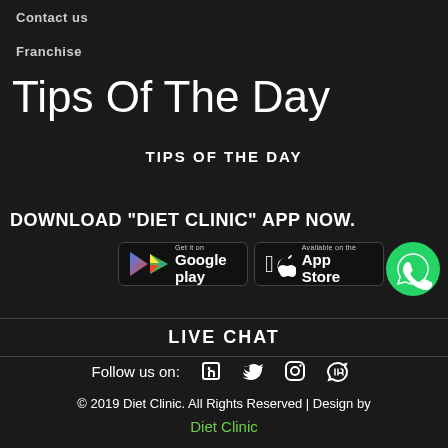Contact us
Franchise
Tips Of The Day
TIPS OF THE DAY
DOWNLOAD "DIET CLINIC" APP NOW.
[Figure (screenshot): Google Play and App Store download buttons, and WhatsApp icon button]
LIVE CHAT
Follow us on:
© 2019 Diet Clinic. All Rights Reserved | Design by Diet Clinic